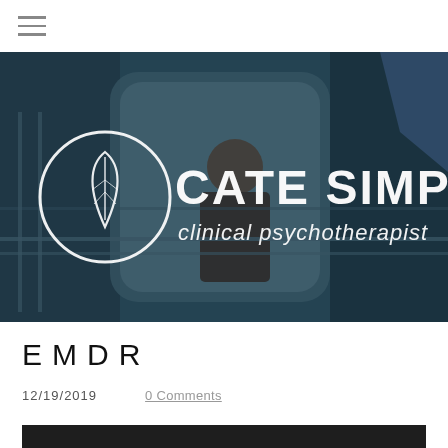≡ (hamburger menu icon)
[Figure (photo): Hero banner photo of a woman sitting by a train window, reading a book. Over the photo is the Cate Simpson clinical psychotherapist logo: a circle with a leaf icon on the left, and 'CATE SIMPSON' in large white letters with 'clinical psychotherapist' below in smaller white italic text.]
EMDR
12/19/2019   0 Comments
[Figure (photo): Bottom edge of a dark photo, partially visible at the bottom of the page.]